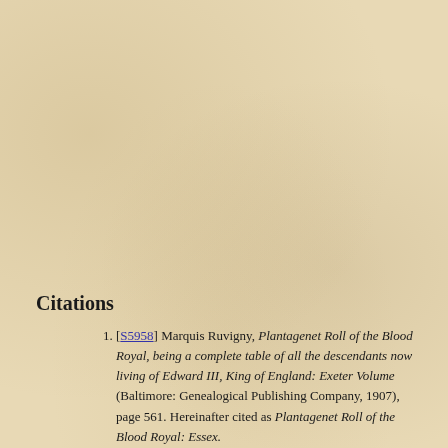Citations
[S5958] Marquis Ruvigny, Plantagenet Roll of the Blood Royal, being a complete table of all the descendants now living of Edward III, King of England: Exeter Volume (Baltimore: Genealogical Publishing Company, 1907), page 561. Hereinafter cited as Plantagenet Roll of the Blood Royal: Essex.